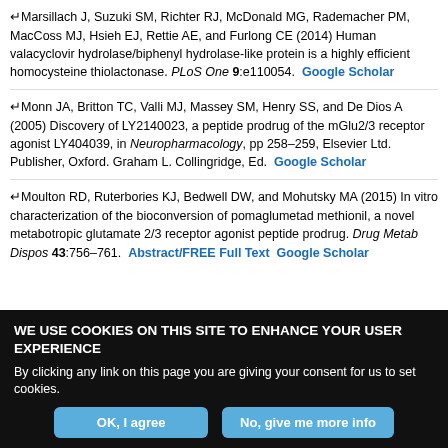↵Marsillach J, Suzuki SM, Richter RJ, McDonald MG, Rademacher PM, MacCoss MJ, Hsieh EJ, Rettie AE, and Furlong CE (2014) Human valacyclovir hydrolase/biphenyl hydrolase-like protein is a highly efficient homocysteine thiolactonase. PLoS One 9:e110054. Google Scholar
↵Monn JA, Britton TC, Valli MJ, Massey SM, Henry SS, and De Dios A (2005) Discovery of LY2140023, a peptide prodrug of the mGlu2/3 receptor agonist LY404039, in Neuropharmacology, pp 258–259, Elsevier Ltd. Publisher, Oxford. Graham L. Collingridge, Ed. Google Scholar
↵Moulton RD, Ruterbories KJ, Bedwell DW, and Mohutsky MA (2015) In vitro characterization of the bioconversion of pomaglumetad methionil, a novel metabotropic glutamate 2/3 receptor agonist peptide prodrug. Drug Metab Dispos 43:756–761. Abstract/FREE Full Text Google Scholar
WE USE COOKIES ON THIS SITE TO ENHANCE YOUR USER EXPERIENCE
By clicking any link on this page you are giving your consent for us to set cookies.
OK, I agree | No, give me more info